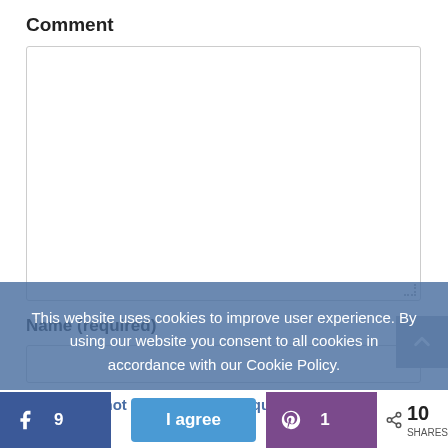Comment
[Figure (other): Comment textarea input box (empty)]
Name (required)
[Figure (other): Name text input box (empty)]
Email (will not be published) (required)
This website uses cookies to improve user experience. By using our website you consent to all cookies in accordance with our Cookie Policy.
I agree
9
1
10 SHARES